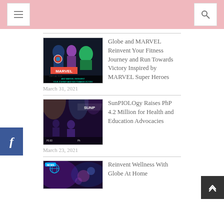Navigation header with menu and search icons
[Figure (illustration): Marvel Virtual Run promotional image with Marvel superheroes including Captain America, Black Widow, and Hulk. Text reads: AND MARVEL REINVENT YOUR JOURNEY AND RUN TOWARDS VICTORY INSPIRED BY MARVEL HEROES]
Globe and MARVEL Reinvent Your Fitness Journey and Run Towards Victory Inspired by MARVEL Super Heroes
March 31, 2021
[Figure (photo): SunPIOLOgy event photo showing performers on stage with dramatic lighting]
SunPIOLOgy Raises PhP 4.2 Million for Health and Education Advocacies
March 23, 2021
[Figure (photo): Reinvent Wellness With Globe At Home promotional image]
Reinvent Wellness With Globe At Home